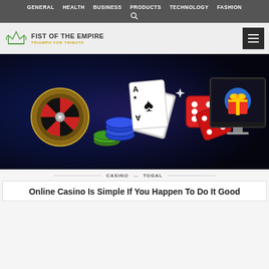GENERAL  HEALTH  BUSINESS  PRODUCTS  TECHNOLOGY  FASHION
[Figure (logo): Fist of the Empire logo with crown icon, text 'FIST OF THE EMPIRE' and tagline 'TRIUMPH FOR TRIBUTE']
[Figure (illustration): Online casino themed hero image with roulette wheel, poker chips, playing cards (Ace and Jack of spades), red dice, and a computer monitor displaying a gift box icon on a dark blue background]
CASINO — TOGAL
Online Casino Is Simple If You Happen To Do It Good